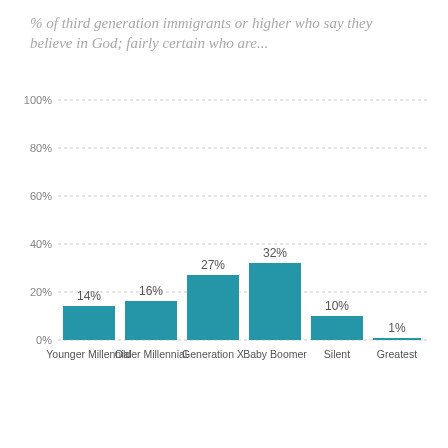[Figure (bar-chart): % of third generation immigrants or higher who say they believe in God; fairly certain who are...]